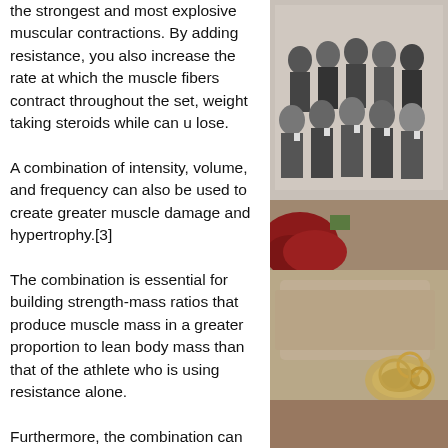the strongest and most explosive muscular contractions. By adding resistance, you also increase the rate at which the muscle fibers contract throughout the set, weight taking steroids while can u lose.
A combination of intensity, volume, and frequency can also be used to create greater muscle damage and hypertrophy.[3]
The combination is essential for building strength-mass ratios that produce muscle mass in a greater proportion to lean body mass than that of the athlete who is using resistance alone.
Furthermore, the combination can also be used to reduce the stress placed on the cardiovascular system and thereby boost your cardiovascular fitness.
[Figure (photo): A photo collage visible on the right side of the page, showing a black and white group photograph of people at the top, and below it a warm-toned photograph with fabric/rope objects.]